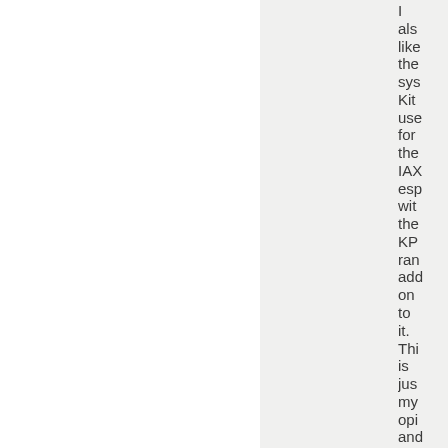I also like the system Kith used for the IAX especially with the KP range added on to it. This is just my opinion and